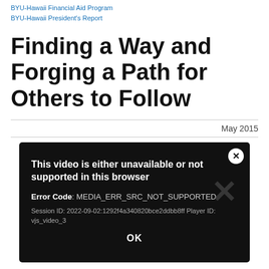BYU-Hawaii Financial Aid Program
BYU-Hawaii President's Report
Finding a Way and Forging a Path for Others to Follow
May 2015
[Figure (screenshot): Video player error dialog on black background. Message: 'This video is either unavailable or not supported in this browser'. Error Code: MEDIA_ERR_SRC_NOT_SUPPORTED. Session ID: 2022-09-02:1292f4a340820bce2ddbb8ff Player ID: vjs_video_3. OK button at bottom. Close (X) button top right.]